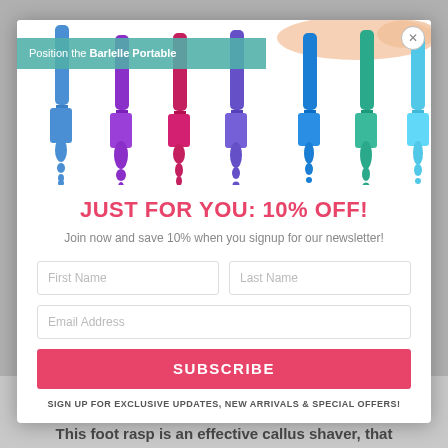[Figure (photo): Nail polish bottles in blue, purple, magenta, violet, bright blue, teal, and light blue colors dripping, arranged in a row on a white background with a hand visible at top right]
Position the Barlelle Portable
JUST FOR YOU: 10% OFF!
Join now and save 10% when you signup for our newsletter!
First Name
Last Name
Email Address
SUBSCRIBE
SIGN UP FOR EXCLUSIVE UPDATES, NEW ARRIVALS & SPECIAL OFFERS!
This foot rasp is an effective callus shaver, that